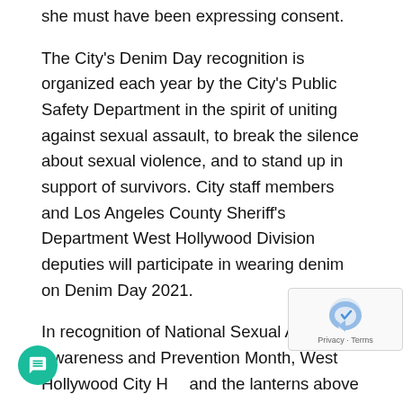she must have been expressing consent.
The City's Denim Day recognition is organized each year by the City's Public Safety Department in the spirit of uniting against sexual assault, to break the silence about sexual violence, and to stand up in support of survivors. City staff members and Los Angeles County Sheriff's Department West Hollywood Division deputies will participate in wearing denim on Denim Day 2021.
In recognition of National Sexual Assault Awareness and Prevention Month, West Hollywood City H... and the lanterns above Santa Monica Bouleva... between N. Robertson Boulevard and Hancock Avenue are glowing in the color teal through Friday, April 30, 2021. The City will also participate in the